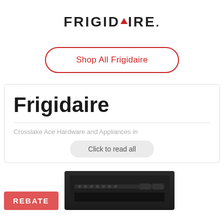[Figure (logo): Frigidaire brand logo in bold uppercase letters with a red triangle replacing the letter A]
Shop All Frigidaire
Frigidaire
Crosslake Ace Hardware and Appliances in
Click to read all
[Figure (illustration): Red REBATE badge on the left and a dark-colored kitchen appliance (dishwasher or oven control panel) on the right]